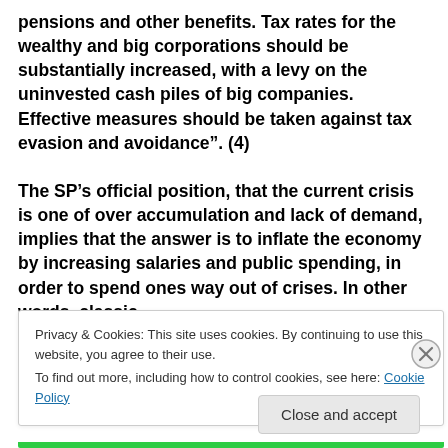pensions and other benefits. Tax rates for the wealthy and big corporations should be substantially increased, with a levy on the uninvested cash piles of big companies. Effective measures should be taken against tax evasion and avoidance". (4)

The SP's official position, that the current crisis is one of over accumulation and lack of demand, implies that the answer is to inflate the economy by increasing salaries and public spending, in order to spend ones way out of crises. In other words, classic
Privacy & Cookies: This site uses cookies. By continuing to use this website, you agree to their use.
To find out more, including how to control cookies, see here: Cookie Policy